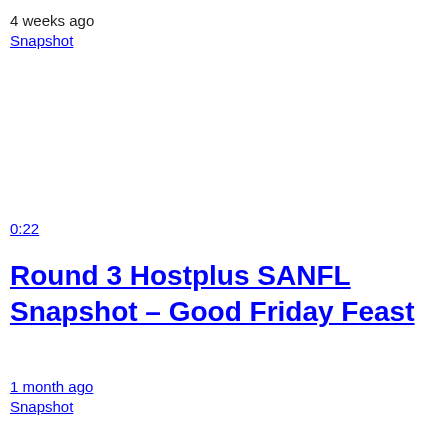4 weeks ago
Snapshot
0:22
Round 3 Hostplus SANFL Snapshot – Good Friday Feast
1 month ago
Snapshot